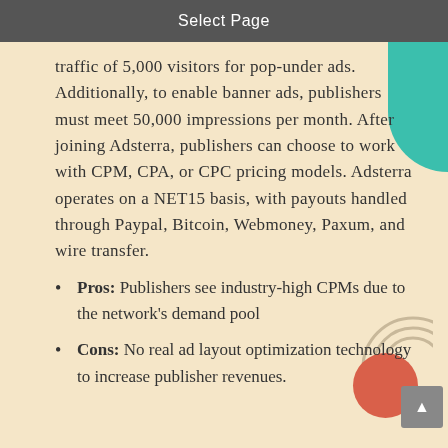Select Page
traffic of 5,000 visitors for pop-under ads. Additionally, to enable banner ads, publishers must meet 50,000 impressions per month. After joining Adsterra, publishers can choose to work with CPM, CPA, or CPC pricing models. Adsterra operates on a NET15 basis, with payouts handled through Paypal, Bitcoin, Webmoney, Paxum, and wire transfer.
Pros: Publishers see industry-high CPMs due to the network's demand pool
Cons: No real ad layout optimization technology to increase publisher revenues.